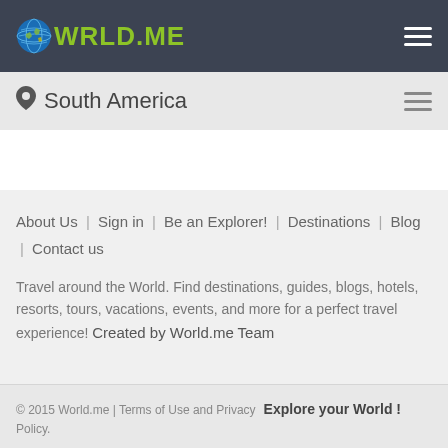WORLD.ME
South America
About Us  |  Sign in  |  Be an Explorer!  |  Destinations  |  Blog  |  Contact us
Travel around the World. Find destinations, guides, blogs, hotels, resorts, tours, vacations, events, and more for a perfect travel experience! Created by World.me Team
© 2015 World.me | Terms of Use and Privacy Policy.  Explore your World !